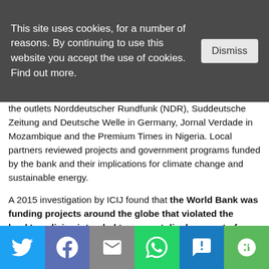This site uses cookies, for a number of reasons. By continuing to use this website you accept the use of cookies. Find out more.
the outlets Norddeutscher Rundfunk (NDR), Suddeutsche Zeitung and Deutsche Welle in Germany, Jornal Verdade in Mozambique and the Premium Times in Nigeria. Local partners reviewed projects and government programs funded by the bank and their implications for climate change and sustainable energy.
A 2015 investigation by ICIJ found that the World Bank was funding projects around the globe that violated the bank's policies intended to prevent displacement of local people from their land and jobs.
| Region | Fossil Fuels | Renewables* | Large Hydropower |
| --- | --- | --- | --- |